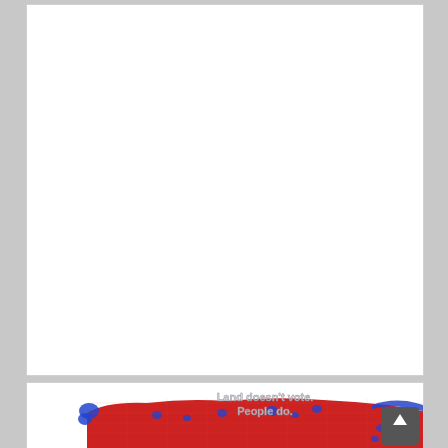[Figure (other): Blank white rectangle, top section of a web page layout]
[Figure (map): US election map by county showing red (Republican) and blue (Democrat) counties. The northern/central US shows predominantly red with blue clusters in urban areas. Text overlay reads 'Land doesn't vote. People do.' A dark gray scroll-to-top button with an upward arrow is in the bottom right corner.]